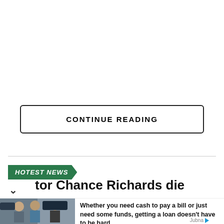CONTINUE READING
HOTEST NEWS
tor Chance Richards die
[Figure (photo): Advertisement photo showing people at a car dealership discussing a loan, with a woman holding car keys.]
Whether you need cash to pay a bill or just need some funds, getting a loan doesn't have to be hard.
Best Online Loans 2022 | Search Ads | Sponsored